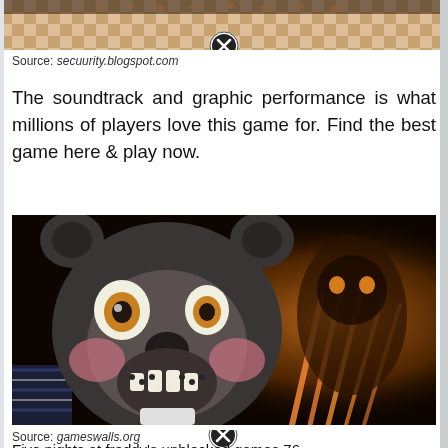[Figure (screenshot): Top portion of a game screenshot showing a checkered floor scene with a circular close/X button overlay]
Source: secuurity.blogspot.com
The soundtrack and graphic performance is what millions of players love this game for. Find the best game here & play now.
[Figure (photo): Five Nights at Freddy's character - a dark animatronic bear face with orange eyes and pink cheeks on the left, and a glowing golden monstrous figure on the right in a dark background]
Source: gameswalls.org
Five nights at freddy's unblocked games 76